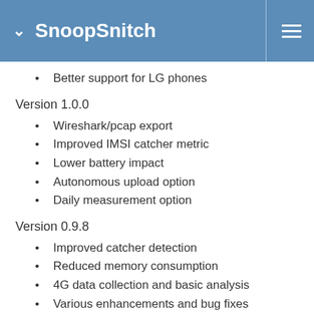SnoopSnitch
Better support for LG phones
Version 1.0.0
Wireshark/pcap export
Improved IMSI catcher metric
Lower battery impact
Autonomous upload option
Daily measurement option
Version 0.9.8
Improved catcher detection
Reduced memory consumption
4G data collection and basic analysis
Various enhancements and bug fixes
Version 0.9.7
Improve detection of type 1 catchers and silent calls
Reduce false positive rate